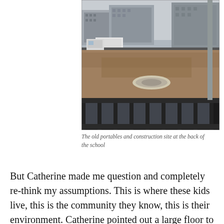[Figure (photo): A construction site at the back of a school, showing dirt, a large pipe on the ground, construction fencing, a white van, and urban buildings in the background. A metal railing is visible in the foreground.]
The old portables and construction site at the back of the school
But Catherine made me question and completely re-think my assumptions. This is where these kids live, this is the community they know, this is their environment. Catherine pointed out a large floor to ceiling window that overlooked a parking lot and loading dock of the neighbouring mall. "The kids see it b...